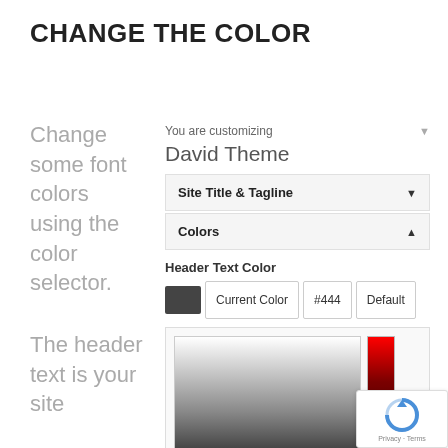CHANGE THE COLOR
Change some font colors using the color selector.
[Figure (screenshot): WordPress theme customizer panel showing 'You are customizing David Theme' dropdown, with Site Title & Tagline and Colors accordion sections, Header Text Color selector showing #444 color with Current Color, #444, and Default buttons, and a color picker with gradient square and hue bar]
The header text is your site